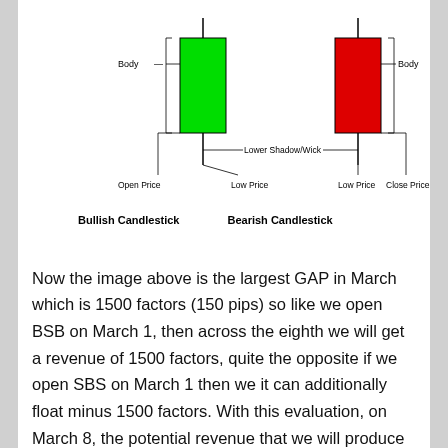[Figure (illustration): Diagram showing a bullish candlestick (green body) and a bearish candlestick (red body), each labeled with Body, Lower Shadow/Wick, Open Price, Low Price, and Close Price annotations.]
Bullish Candlestick    Bearish Candlestick
Now the image above is the largest GAP in March which is 1500 factors (150 pips) so like we open BSB on March 1, then across the eighth we will get a revenue of 1500 factors, quite the opposite if we open SBS on March 1 then we it can additionally float minus 1500 factors. With this evaluation, on March 8, the potential revenue that we will produce could be very massive, so if we open SBS on March 8, then when GAP returns to 0 we’ll get a revenue of 1500 factors as nicely.